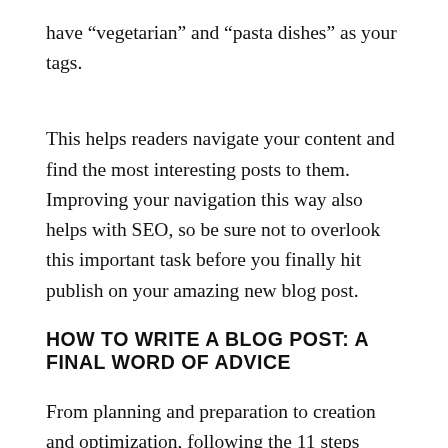have “vegetarian” and “pasta dishes” as your tags.
This helps readers navigate your content and find the most interesting posts to them. Improving your navigation this way also helps with SEO, so be sure not to overlook this important task before you finally hit publish on your amazing new blog post.
HOW TO WRITE A BLOG POST: A FINAL WORD OF ADVICE
From planning and preparation to creation and optimization, following the 11 steps outlined above will ensure that you’ve produced a high-quality blog post that provides value for your readers, helps you to grow your audience, and gets you one step closer to achieving whatever goal you had in mind when